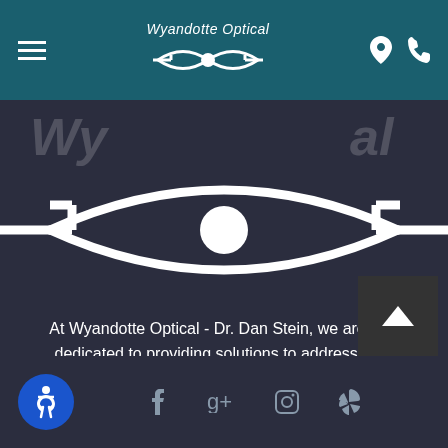Wyandotte Optical — navigation bar with hamburger menu, logo, location and phone icons
[Figure (logo): Large Wyandotte Optical eye logo on dark background, with partial text 'Wy' and 'al' on sides]
At Wyandotte Optical - Dr. Dan Stein, we are fully dedicated to providing solutions to address your unique needs. This personal care is why people throughout the Wyandotte area come to Wyandotte Optical - Dr. Dan Stein.
Social media icons: Facebook, Google+, Instagram, Yelp. Accessibility button.